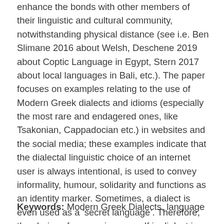enhance the bonds with other members of their linguistic and cultural community, notwithstanding physical distance (see i.e. Ben Slimane 2016 about Welsh, Deschene 2019 about Coptic Language in Egypt, Stern 2017 about local languages in Bali, etc.). The paper focuses on examples relating to the use of Modern Greek dialects and idioms (especially the most rare and endagered ones, like Tsakonian, Cappadocian etc.) in websites and the social media; these examples indicate that the dialectal linguistic choice of an internet user is always intentional, is used to convey informality, humour, solidarity and functions as an identity marker. Sometimes, a dialect is even used as a ‘secret language’. Therefore, the choise of expressing oneself in dialect in the web and social media is, at times, an expression of language digital activism.
Keywords: Modern Greek Dialects, language